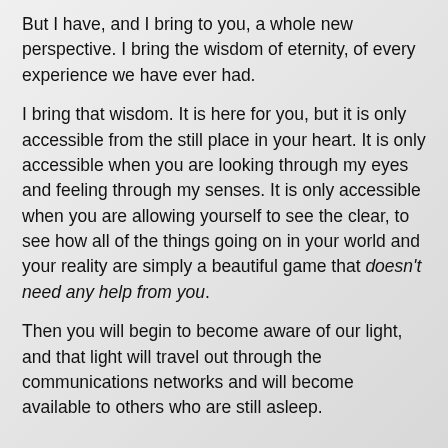But I have, and I bring to you, a whole new perspective. I bring the wisdom of eternity, of every experience we have ever had.
I bring that wisdom. It is here for you, but it is only accessible from the still place in your heart. It is only accessible when you are looking through my eyes and feeling through my senses. It is only accessible when you are allowing yourself to see the clear, to see how all of the things going on in your world and your reality are simply a beautiful game that doesn't need any help from you.
Then you will begin to become aware of our light, and that light will travel out through the communications networks and will become available to others who are still asleep.